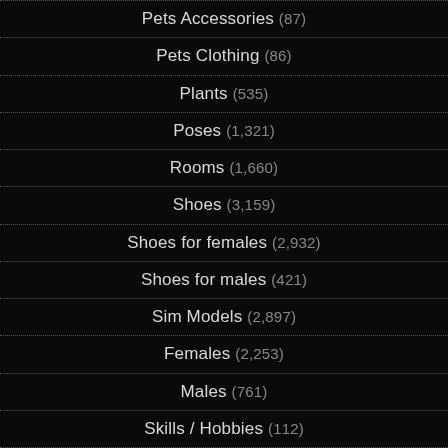Pets Accessories (87)
Pets Clothing (86)
Plants (535)
Poses (1,321)
Rooms (1,660)
Shoes (3,159)
Shoes for females (2,932)
Shoes for males (421)
Sim Models (2,897)
Females (2,253)
Males (761)
Skills / Hobbies (112)